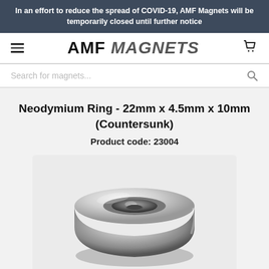In an effort to reduce the spread of COVID-19, AMF Magnets will be temporarily closed until further notice
AMF MAGNETS
Search for magnets...
Neodymium Ring - 22mm x 4.5mm x 10mm (Countersunk)
Product code: 23004
[Figure (photo): A silver/nickel-plated neodymium ring countersunk magnet viewed from a slight angle, showing the countersunk hole in the center and shiny metallic surface.]